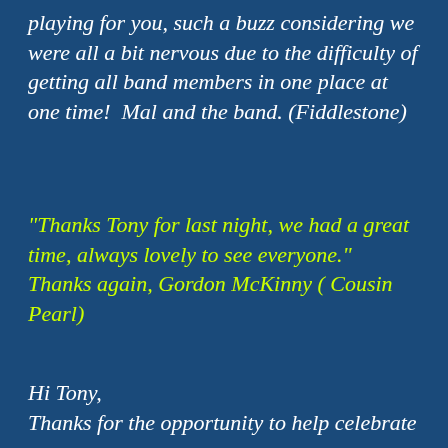playing for you, such a buzz considering we were all a bit nervous due to the difficulty of getting all band members in one place at one time!  Mal and the band. (Fiddlestone)
"Thanks Tony for last night, we had a great time, always lovely to see everyone." Thanks again, Gordon McKinny ( Cousin Pearl)
Hi Tony,
Thanks for the opportunity to help celebrate